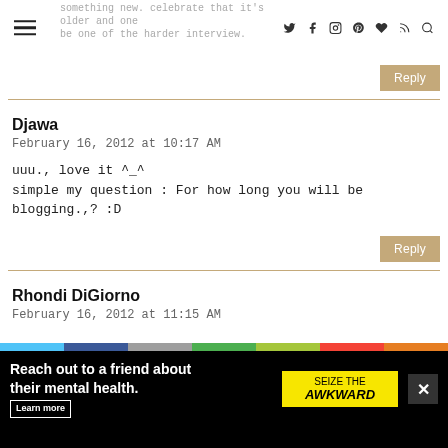something new. celebrate that it's older and one be one of the harder interview.
Reply
Djawa
February 16, 2012 at 10:17 AM

uuu., love it ^_^
simple my question : For how long you will be blogging.,? :D
Reply
Rhondi DiGiorno
February 16, 2012 at 11:15 AM
[Figure (screenshot): Ad banner: Reach out to a friend about their mental health. SEIZE THE AWKWARD campaign ad with yellow badge, learn more button, and close X button.]